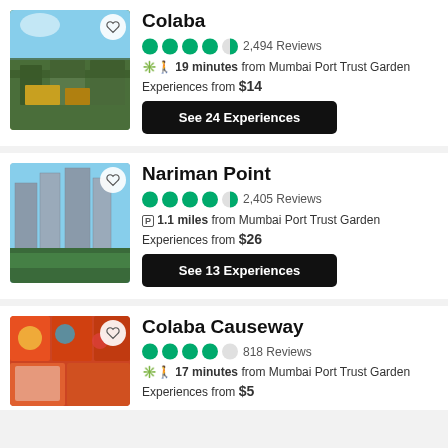[Figure (photo): Photo of Colaba area showing historic architecture with trees and a yellow taxi]
Colaba
2,494 Reviews
19 minutes from Mumbai Port Trust Garden
Experiences from $14
See 24 Experiences
[Figure (photo): Photo of Nariman Point showing tall modern buildings and green trees]
Nariman Point
2,405 Reviews
1.1 miles from Mumbai Port Trust Garden
Experiences from $26
See 13 Experiences
[Figure (photo): Photo of Colaba Causeway showing colorful market goods]
Colaba Causeway
818 Reviews
17 minutes from Mumbai Port Trust Garden
Experiences from $5